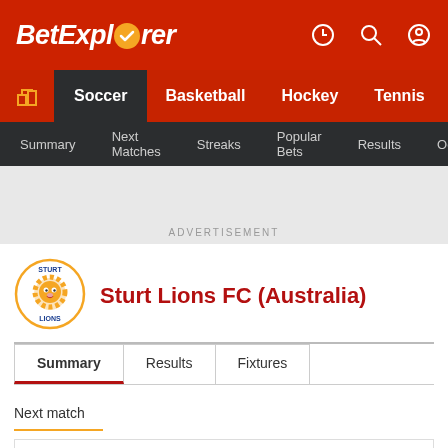BetExplorer
Soccer  Basketball  Hockey  Tennis  Base
Summary  Next Matches  Streaks  Popular Bets  Results  Odds
ADVERTISEMENT
[Figure (logo): Sturt Lions FC circular orange lion logo with text STURT and LIONS]
Sturt Lions FC (Australia)
Summary  Results  Fixtures
Next match
No matches found